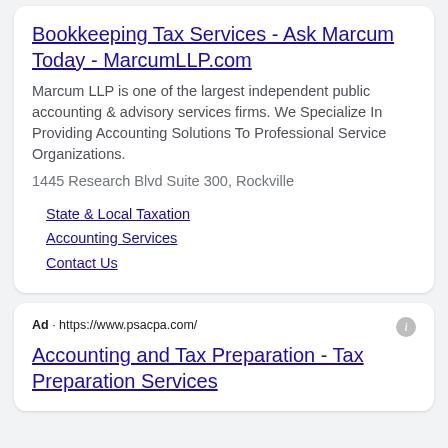Bookkeeping Tax Services - Ask Marcum Today - MarcumLLP.com
Marcum LLP is one of the largest independent public accounting & advisory services firms. We Specialize In Providing Accounting Solutions To Professional Service Organizations.
1445 Research Blvd Suite 300, Rockville
State & Local Taxation
Accounting Services
Contact Us
Ad · https://www.psacpa.com/
Accounting and Tax Preparation - Tax Preparation Services